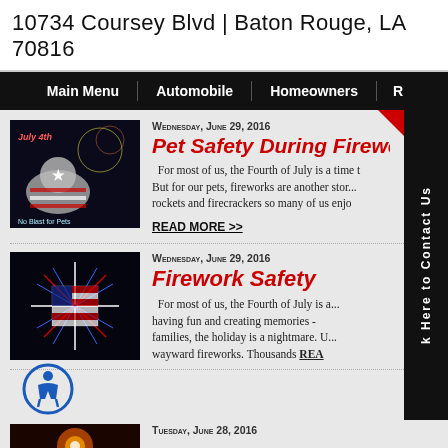10734 Coursey Blvd | Baton Rouge, LA 70816
Main Menu | Automobile | Homeowners | R
[Figure (photo): Photo of a white dog wearing a patriotic bandana with 'July 4th' text and fireworks in background, with text 'No Blast for Pets']
WEDNESDAY, JUNE 29, 2016
Pet Safety During Firew
For most of us, the Fourth of July is a time t... But for our pets, fireworks are another stor... rockets and firecrackers so many of us enj...
READ MORE >>
[Figure (photo): Photo of fireworks in the shape of the American flag on a black background]
WEDNESDAY, JUNE 29, 2016
Firework Safety
For most of us, the Fourth of July is a... having fun and creating memories - ... families, the holiday is a nightmare. U... wayward fireworks. Thousands REA...
[Figure (photo): Accessibility icon - person symbol in a circle]
[Figure (photo): Partial photo of fireworks, orange/red colored]
TUESDAY, JUNE 28, 2016